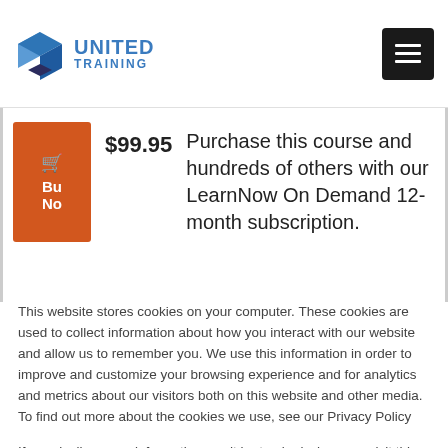United Training
$99.95 Purchase this course and hundreds of others with our LearnNow On Demand 12-month subscription.
This website stores cookies on your computer. These cookies are used to collect information about how you interact with our website and allow us to remember you. We use this information in order to improve and customize your browsing experience and for analytics and metrics about our visitors both on this website and other media. To find out more about the cookies we use, see our Privacy Policy
If you decline, your information won't be tracked when you visit this website. A single cookie will be used in your browser to remember your preference not to be tracked.
Cookies settings  Accept All  Decline All